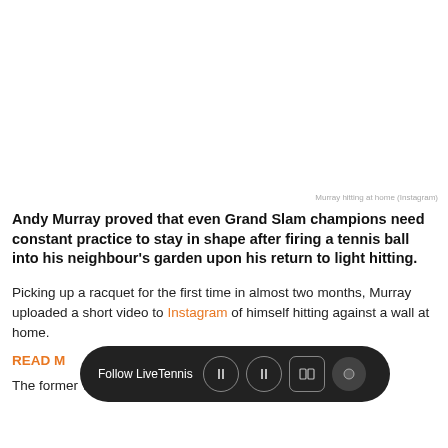Murray hitting at home (Instagram)
Andy Murray proved that even Grand Slam champions need constant practice to stay in shape after firing a tennis ball into his neighbour's garden upon his return to light hitting.
Picking up a racquet for the first time in almost two months, Murray uploaded a short video to Instagram of himself hitting against a wall at home.
READ M...
The former World No. 1 started off in solid enough fashion,
[Figure (infographic): Dark pill-shaped overlay bar with 'Follow LiveTennis' text and social media icons]